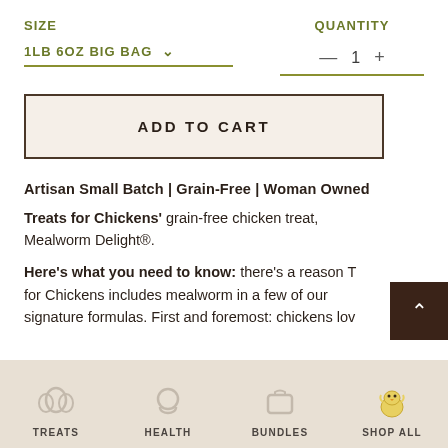SIZE
QUANTITY
1LB 6OZ BIG BAG
— 1 +
ADD TO CART
Artisan Small Batch | Grain-Free | Woman Owned
Treats for Chickens' grain-free chicken treat, Mealworm Delight®.
Here's what you need to know: there's a reason Treats for Chickens includes mealworm in a few of our signature formulas. First and foremost: chickens lov
TREATS   HEALTH   BUNDLES   SHOP ALL